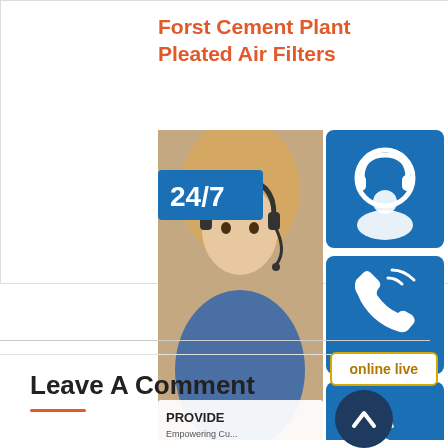[Figure (photo): Industrial air filter component — circular white plastic part with holes, photographed from front]
Forst Cement Plant Pleated Air Filters
Cement Nordic Air FiltrationIndustrial Fil... the Cement Industry C... consists of very ...
Reply
[Figure (infographic): Customer service widget overlay showing: 24/7 badge in blue, woman with headset photo, headset icon button, phone icon button, Skype icon button, 'online live' button, PROVIDE Empowering Customers text, and upward arrow navigation button]
Leave A Comment